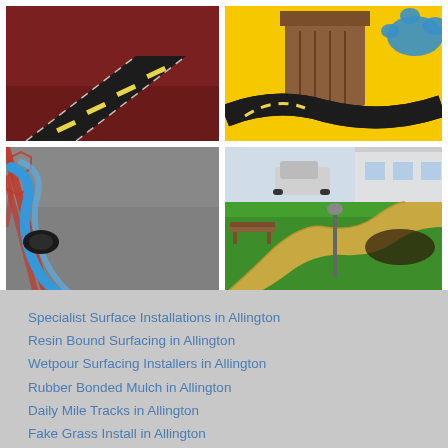[Figure (photo): Top-left: Playground rubber road marking on dark red wetpour surface, showing a black road with yellow dashed markings]
[Figure (photo): Top-right: Colorful playground surface with yellow background, black road marking, blue splash design, and wooden play structure]
[Figure (photo): Bottom-left: Close-up of rubber wetpour surface with red and blue rope/net playground equipment in foreground]
[Figure (photo): Bottom-right: Resin bound pathway curving through green grass landscape with bench and building in background]
Specialist Surface Installations in Allington
Resin Bound Surfacing in Allington
Wetpour Surfacing Installers in Allington
Rubber Bonded Mulch in Allington
Daily Mile Tracks in Allington
Fake Grass Install in Allington